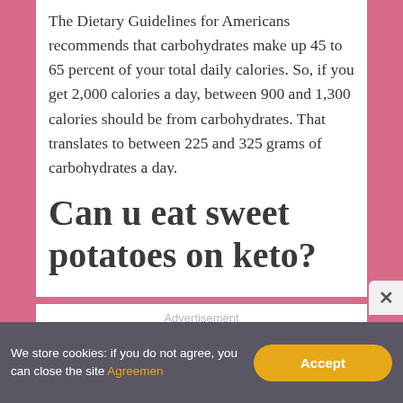The Dietary Guidelines for Americans recommends that carbohydrates make up 45 to 65 percent of your total daily calories. So, if you get 2,000 calories a day, between 900 and 1,300 calories should be from carbohydrates. That translates to between 225 and 325 grams of carbohydrates a day.
Can u eat sweet potatoes on keto?
Advertisement
We store cookies: if you do not agree, you can close the site Agreemen